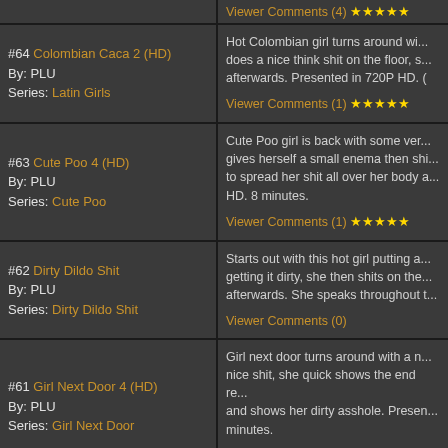Viewer Comments (4) ★★★★★
#64 Colombian Caca 2 (HD) By: PLU Series: Latin Girls
Hot Colombian girl turns around wi... does a nice think shit on the floor, s... afterwards. Presented in 720P HD. Viewer Comments (1) ★★★★★
#63 Cute Poo 4 (HD) By: PLU Series: Cute Poo
Cute Poo girl is back with some ver... gives herself a small enema then sh... to spread her shit all over her body a... HD. 8 minutes. Viewer Comments (1) ★★★★★
#62 Dirty Dildo Shit By: PLU Series: Dirty Dildo Shit
Starts out with this hot girl putting a... getting it dirty, she then shits on the... afterwards. She speaks throughout t... Viewer Comments (0)
#61 Girl Next Door 4 (HD) By: PLU Series: Girl Next Door
Girl next door turns around with a n... nice shit, she quick shows the end r... and shows her dirty asshole. Presen... minutes. Viewer Comments (0)
#60 Girl Next Door 3 (HD)
Girl next door looking sexy, turns a... her asshole pushes out a nice log, sh...